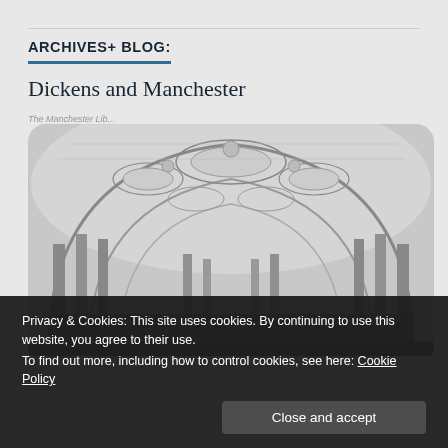ARCHIVES+ BLOG:
Dickens and Manchester
The Manchester Library...
[Figure (photo): Black and white architectural engraving of a grand Victorian hall interior with arched ceiling, ornate decorations, columns, and a large audience.]
Privacy & Cookies: This site uses cookies. By continuing to use this website, you agree to their use.
To find out more, including how to control cookies, see here: Cookie Policy
Close and accept